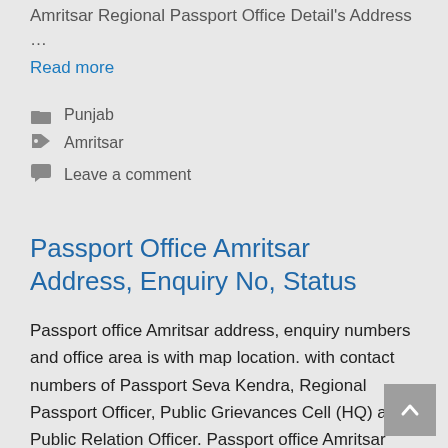Amritsar Regional Passport Office Detail's Address …
Read more
Punjab
Amritsar
Leave a comment
Passport Office Amritsar Address, Enquiry No, Status
Passport office Amritsar address, enquiry numbers and office area is with map location. with contact numbers of Passport Seva Kendra, Regional Passport Officer, Public Grievances Cell (HQ) and Public Relation Officer. Passport office Amritsar Passport office Information Address & Contact Detail's:- …